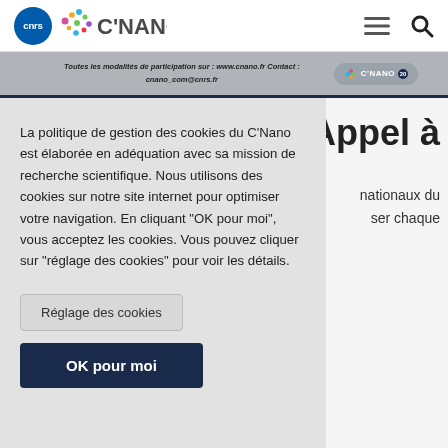[Figure (logo): CNRS blue circle logo with 'cnrs' text and C'Nano logo with colorful dots]
[Figure (screenshot): C'Nano website banner with text 'Toutes les modalités de participation sur : www.cnano.fr' and 'Contact : cnano_com@cnrs.fr']
Appel à
nationaux du ser chaque
La politique de gestion des cookies du C'Nano est élaborée en adéquation avec sa mission de recherche scientifique. Nous utilisons des cookies sur notre site internet pour optimiser votre navigation. En cliquant "OK pour moi", vous acceptez les cookies. Vous pouvez cliquer sur "réglage des cookies" pour voir les détails.
Réglage des cookies
OK pour moi